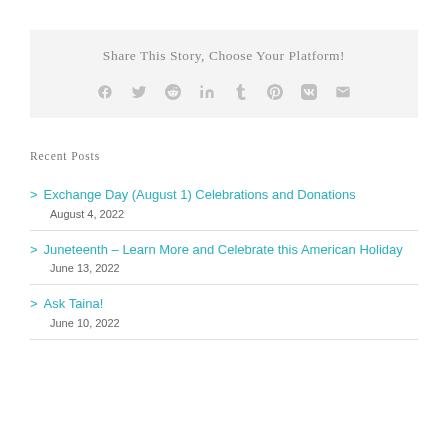Share This Story, Choose Your Platform!
[Figure (infographic): Social media sharing icons: Facebook, Twitter, Reddit, LinkedIn, Tumblr, Pinterest, VK, Email]
Recent Posts
Exchange Day (August 1) Celebrations and Donations
August 4, 2022
Juneteenth – Learn More and Celebrate this American Holiday
June 13, 2022
Ask Taina!
June 10, 2022